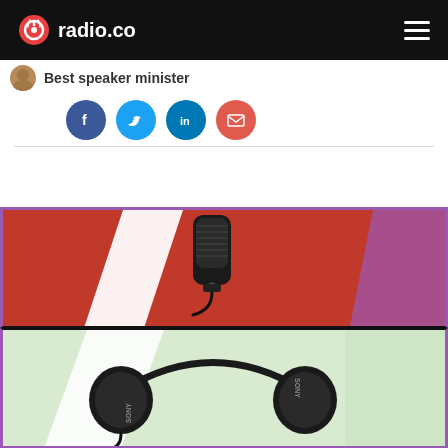radio.co
Best speaker minister (author subtitle, partially visible)
[Figure (other): Social share buttons: Facebook (blue), Twitter (light blue), LinkedIn (blue), Email (red)]
[Figure (photo): Top half: black USB condenser microphone on a red and white geometric background with purple border. Bottom half: Sony on-ear headphones on a light green and white geometric background with purple border.]